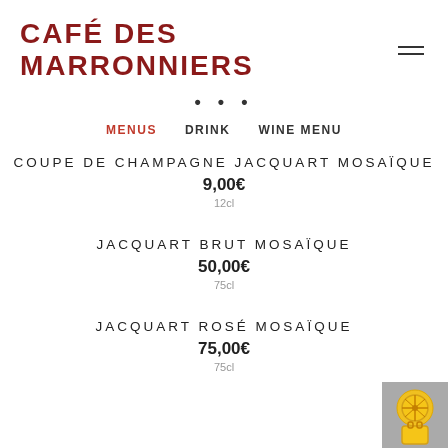CAFÉ DES MARRONNIERS
MENUS   DRINK   WINE MENU
COUPE DE CHAMPAGNE JACQUART MOSAÏQUE
9,00€
12cl
JACQUART BRUT MOSAÏQUE
50,00€
75cl
JACQUART ROSÉ MOSAÏQUE
75,00€
75cl